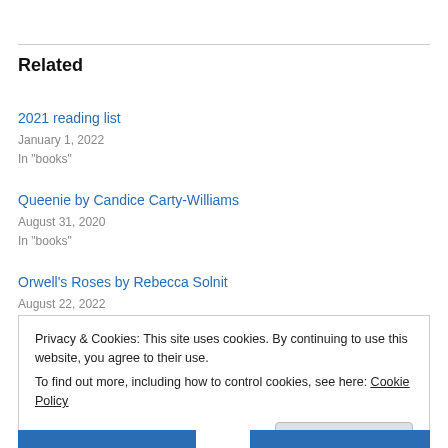Related
2021 reading list
January 1, 2022
In "books"
Queenie by Candice Carty-Williams
August 31, 2020
In "books"
Orwell's Roses by Rebecca Solnit
August 22, 2022
Privacy & Cookies: This site uses cookies. By continuing to use this website, you agree to their use.
To find out more, including how to control cookies, see here: Cookie Policy